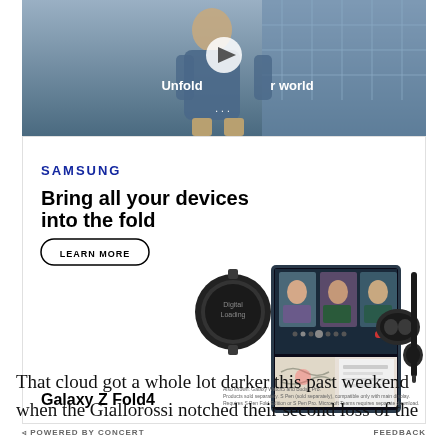[Figure (screenshot): Video thumbnail showing a person walking in a building with overlay text 'Unfold your world' and a play button]
[Figure (screenshot): Samsung advertisement for Galaxy Z Fold4 showing 'Bring all your devices into the fold' headline with product images of Galaxy Watch5, Galaxy Z Fold4 open with video call, and Galaxy Buds2 Pro. Includes LEARN MORE button.]
POWERED BY CONCERT   FEEDBACK
That cloud got a whole lot darker this past weekend when the Giallorossi notched their second loss of the